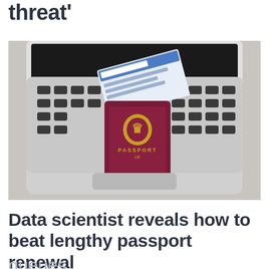threat'
[Figure (photo): A laptop with a British passport and a boarding pass placed on its keyboard, on a grey surface, viewed from above.]
Data scientist reveals how to beat lengthy passport renewal queues